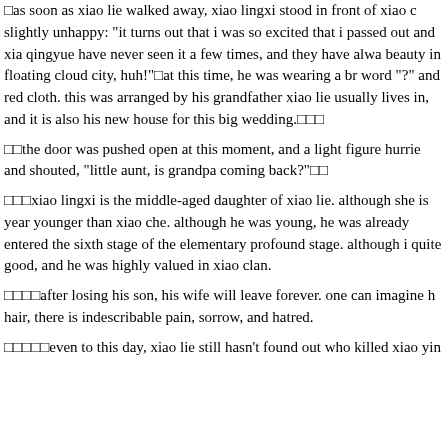as soon as xiao lie walked away, xiao lingxi stood in front of xiao c slightly unhappy: "it turns out that i was so excited that i passed out and xia qingyue have never seen it a few times, and they have alwa beauty in floating cloud city, huh!" at this time, he was wearing a br word "?" and red cloth. this was arranged by his grandfather xiao lie usually lives in, and it is also his new house for this big wedding.
the door was pushed open at this moment, and a light figure hurrie and shouted, "little aunt, is grandpa coming back?"
xiao lingxi is the middle-aged daughter of xiao lie. although she is year younger than xiao che. although he was young, he was already entered the sixth stage of the elementary profound stage. although i quite good, and he was highly valued in xiao clan.
after losing his son, his wife will leave forever. one can imagine h hair, there is indescribable pain, sorrow, and hatred.
even to this day, xiao lie still hasn't found out who killed xiao yin